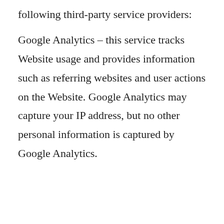following third-party service providers:
Google Analytics – this service tracks Website usage and provides information such as referring websites and user actions on the Website. Google Analytics may capture your IP address, but no other personal information is captured by Google Analytics.